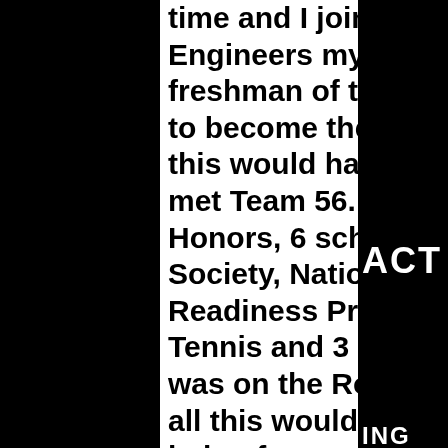time and I joined the Society of Hispanic Engineers my freshman year. Later on, I was freshman of the month and then was nominated to become their Freshman representative, but all this would have never happened if I had never met Team 56. I graduated High School with Honors, 6 scholarships, National Honors Society, National Art Honors Society, College Readiness Program, Outstanding Senior Award Tennis and 3 beautiful medals from every year I was on the Robotics team. But like I said before all this would have never happened without the help of my mentors and Team 56. So my goal is to help others as an Industrial Engineer and inspire High schoolers to succeed with their strengths & future."
Sam L. – Computer Science Student @ Raritan Valley